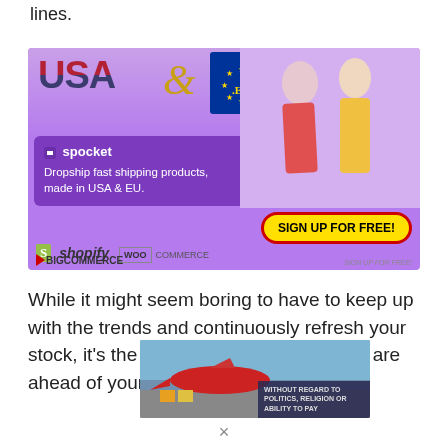lines.
[Figure (infographic): Spocket dropshipping advertisement banner showing USA & EU logos, fashion models, dropshipping text, spocket logo, Shopify/WooCommerce/BigCommerce platform icons, and a 'Sign Up For Free' button]
While it might seem boring to have to keep up with the trends and continuously refresh your stock, it's the only way to make sure you are ahead of your
[Figure (photo): Bottom advertisement showing airplane cargo with text 'WITHOUT REGARD TO POLITICS, RELIGION OR ABILITY TO PAY']